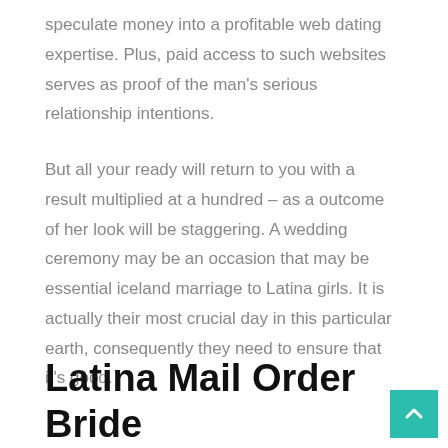speculate money into a profitable web dating expertise. Plus, paid access to such websites serves as proof of the man's serious relationship intentions.
But all your ready will return to you with a result multiplied at a hundred – as a outcome of her look will be staggering. A wedding ceremony may be an occasion that may be essential iceland marriage to Latina girls. It is actually their most crucial day in this particular earth, consequently they need to ensure that it's good.
Latina Mail Order Brides Are